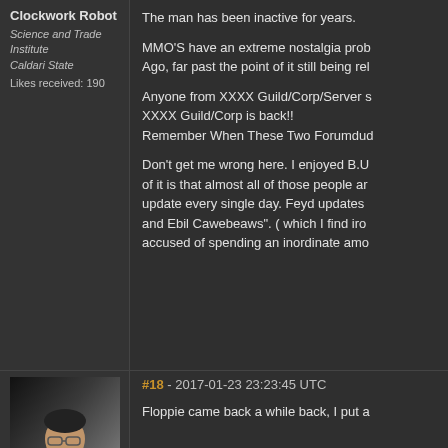Clockwork Robot
Science and Trade Institute
Caldari State
Likes received: 190
The man has been inactive for years.

MMO'S have an extreme nostalgia prob... Ago, far past the point of it still being rel...

Anyone from XXXX Guild/Corp/Server s... XXXX Guild/Corp is back!!
Remember When These Two Forumduc...

Don't get me wrong here. I enjoyed B.U... of it is that almost all of those people ar... update every single day. Feyd updates ... and Ebil Cawebeaws". ( which I find iron... accused of spending an inordinate amo...
[Figure (photo): Avatar of a person with short dark hair, glasses, wearing a dark outfit, against a dark background]
#18 - 2017-01-23 23:23:45 UTC
Floppie came back a while back, I put a...